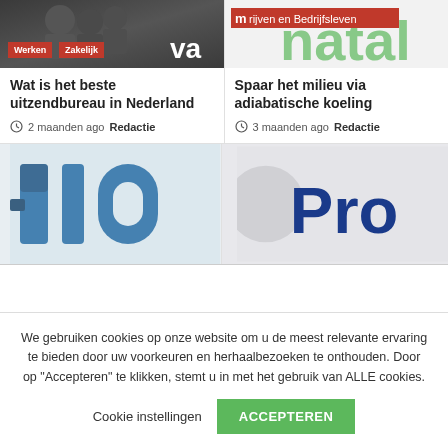[Figure (screenshot): Left card article image: dark photo with people, tags 'Werken' and 'Zakelijk' in red, and large white text 'va']
Wat is het beste uitzendbureau in Nederland
2 maanden ago  Redactie
[Figure (screenshot): Right card article image: green and white logo/text background, red tag 'Bedrijven en Bedrijfsleven']
Spaar het milieu via adiabatische koeling
3 maanden ago  Redactie
[Figure (logo): Bottom left card: partial blue/teal logo with '-lo-' letters visible]
[Figure (logo): Bottom right card: partial logo with blue 'Pro' letters visible on light background]
We gebruiken cookies op onze website om u de meest relevante ervaring te bieden door uw voorkeuren en herhaalbezoeken te onthouden. Door op "Accepteren" te klikken, stemt u in met het gebruik van ALLE cookies.
Cookie instellingen
ACCEPTEREN